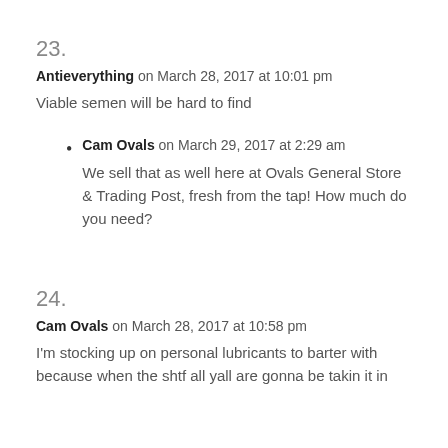23.
Antieverything on March 28, 2017 at 10:01 pm
Viable semen will be hard to find
Cam Ovals on March 29, 2017 at 2:29 am — We sell that as well here at Ovals General Store & Trading Post, fresh from the tap! How much do you need?
24.
Cam Ovals on March 28, 2017 at 10:58 pm
I'm stocking up on personal lubricants to barter with because when the shtf all yall are gonna be takin it in